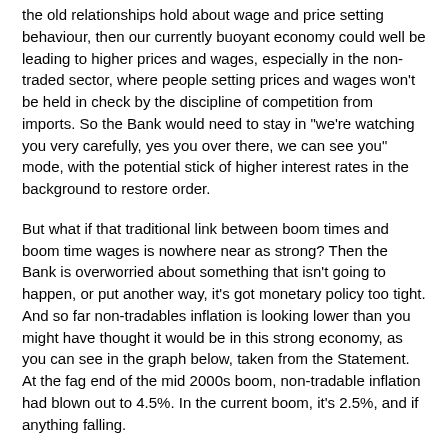the old relationships hold about wage and price setting behaviour, then our currently buoyant economy could well be leading to higher prices and wages, especially in the non-traded sector, where people setting prices and wages won't be held in check by the discipline of competition from imports. So the Bank would need to stay in "we're watching you very carefully, yes you over there, we can see you" mode, with the potential stick of higher interest rates in the background to restore order.
But what if that traditional link between boom times and boom time wages is nowhere near as strong? Then the Bank is overworried about something that isn't going to happen, or put another way, it's got monetary policy too tight. And so far non-tradables inflation is looking lower than you might have thought it would be in this strong economy, as you can see in the graph below, taken from the Statement. At the fag end of the mid 2000s boom, non-tradable inflation had blown out to 4.5%. In the current boom, it's 2.5%, and if anything falling.
[Figure (other): Figure 5.17 caption box: 'Figure 5.17 / Sectoral factor model of inflation']